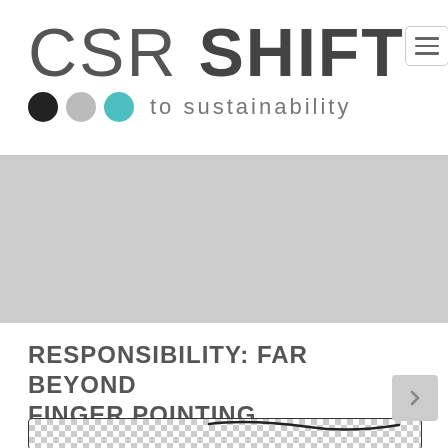CSR SHIFT to sustainability
[Figure (illustration): Gray banner/hero image placeholder area]
RESPONSIBILITY: FAR BEYOND FINGER POINTING
[Figure (photo): Article thumbnail image at bottom, partially visible, black outline border, checkered/transparent background]